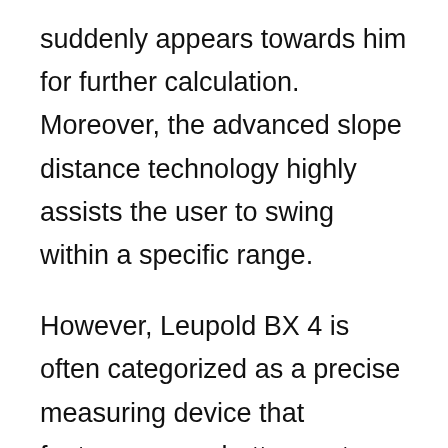suddenly appears towards him for further calculation. Moreover, the advanced slope distance technology highly assists the user to swing within a specific range.
However, Leupold BX 4 is often categorized as a precise measuring device that features a one-button meter and primary mode for smooth working. Furthermore, Leupold BX4 is a relatively light-weighted device to transport and store in an elegant water-resistant pouch.